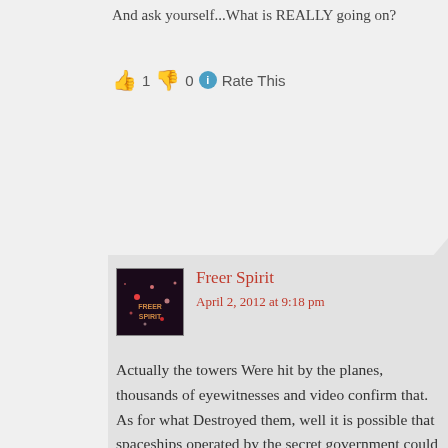And ask yourself...What is REALLY going on?
👍 1 👎 0 ℹ Rate This
Freer Spirit
April 2, 2012 at 9:18 pm
Actually the towers Were hit by the planes, thousands of eyewitnesses and video confirm that. As for what Destroyed them, well it is possible that spaceships operated by the secret government could have used antigravity to loosen their structural strength and cause them to fall.

But in all honesty I do believe the big Towers